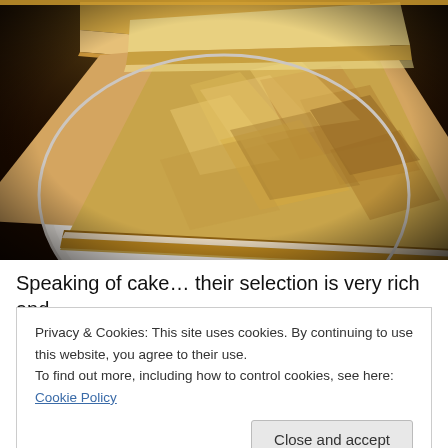[Figure (photo): Two triangular slices of cake with meringue topping on a white plate, photographed from above against a dark background with warm amber/golden tones.]
Speaking of cake… their selection is very rich and
Privacy & Cookies: This site uses cookies. By continuing to use this website, you agree to their use.
To find out more, including how to control cookies, see here: Cookie Policy
Close and accept